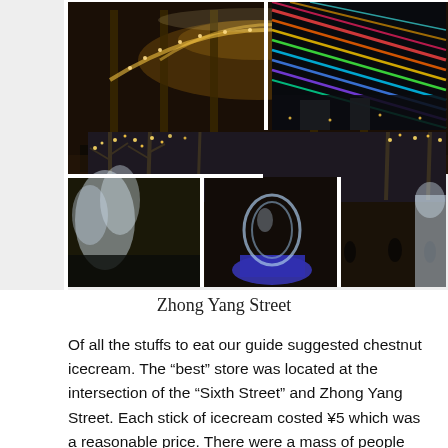[Figure (photo): Collage of nighttime photos from Zhong Yang Street: illuminated archway tunnel with warm golden lights and crowds; colorful LED light display; tree-lined pedestrian street with golden fairy lights; ice sculptures including a tree-like crystal sculpture and a large spherical glass sculpture lit in blue/purple; people walking along the lit street with an ice sculpture on the right.]
Zhong Yang Street
Of all the stuffs to eat our guide suggested chestnut icecream. The “best” store was located at the intersection of the “Sixth Street” and Zhong Yang Street. Each stick of icecream costed ¥5 which was a reasonable price. There were a mass of people crowding at the small opening of the ice cream store. So to get the icecream we had to push our way to the front, in China nobody bothered to queue up so